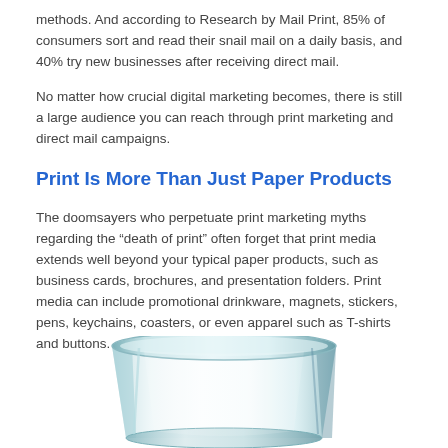methods. And according to Research by Mail Print, 85% of consumers sort and read their snail mail on a daily basis, and 40% try new businesses after receiving direct mail.
No matter how crucial digital marketing becomes, there is still a large audience you can reach through print marketing and direct mail campaigns.
Print Is More Than Just Paper Products
The doomsayers who perpetuate print marketing myths regarding the “death of print” often forget that print media extends well beyond your typical paper products, such as business cards, brochures, and presentation folders. Print media can include promotional drinkware, magnets, stickers, pens, keychains, coasters, or even apparel such as T-shirts and buttons.
[Figure (photo): A clear glass shot glass or small drinking glass photographed from a slightly elevated angle against a white background, showing the rim and transparent body of the glass.]